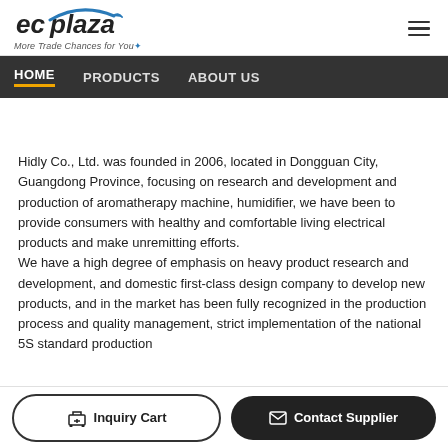[Figure (logo): ecplaza logo with tagline 'More Trade Chances for You']
HOME   PRODUCTS   ABOUT US
Hidly Co., Ltd. was founded in 2006, located in Dongguan City, Guangdong Province, focusing on research and development and production of aromatherapy machine, humidifier, we have been to provide consumers with healthy and comfortable living electrical products and make unremitting efforts.
We have a high degree of emphasis on heavy product research and development, and domestic first-class design company to develop new products, and in the market has been fully recognized in the production process and quality management, strict implementation of the national 5S standard production
Inquiry Cart   Contact Supplier